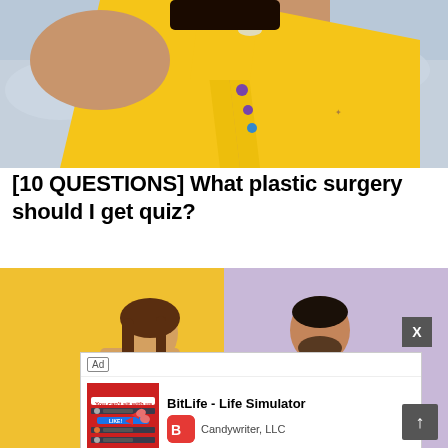[Figure (photo): Woman in yellow one-shoulder draped dress with jeweled brooch against sky background]
[10 QUESTIONS] What plastic surgery should I get quiz?
[Figure (photo): Man and woman facing each other against split yellow and purple background, with app advertisement overlay for BitLife - Life Simulator by Candywriter, LLC]